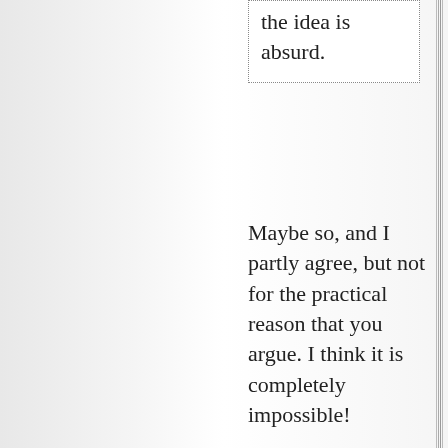the idea is absurd.
Maybe so, and I partly agree, but not for the practical reason that you argue. I think it is completely impossible!
But I must admit that the idea of observing blasting operations taking place on hard rock .... Caterpillars, drilling eq.,Dumper trucks and so forth done solely with solar or wind. I will see